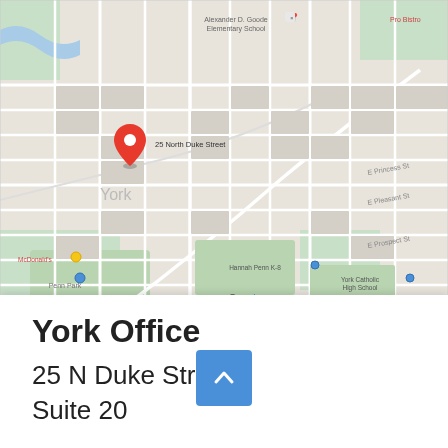[Figure (map): Google Maps screenshot showing York, PA city grid with a red location pin at 25 North Duke Street. Street labels visible include E Princess St, E Pleasant St, E Prospect St, Penn Park, Hannah Penn K-8, York Catholic High School, McDonald's, Alexander D. Goode Elementary School. Google logo visible in bottom center.]
York Office
25 N Duke Street, Suite 20...